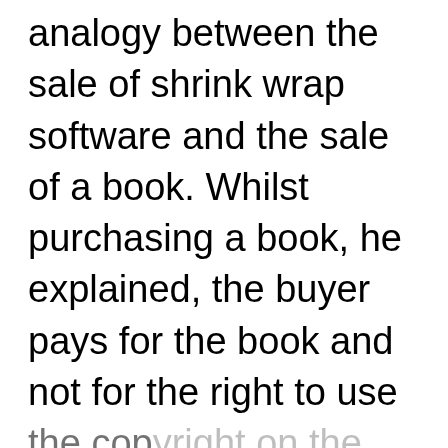analogy between the sale of shrink wrap software and the sale of a book. Whilst purchasing a book, he explained, the buyer pays for the book and not for the right to use the copyright on the